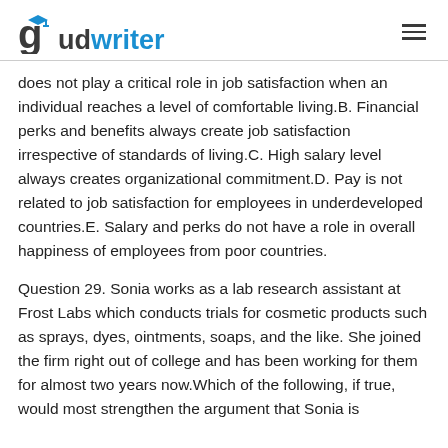gudwriter
does not play a critical role in job satisfaction when an individual reaches a level of comfortable living.B. Financial perks and benefits always create job satisfaction irrespective of standards of living.C. High salary level always creates organizational commitment.D. Pay is not related to job satisfaction for employees in underdeveloped countries.E. Salary and perks do not have a role in overall happiness of employees from poor countries.
Question 29. Sonia works as a lab research assistant at Frost Labs which conducts trials for cosmetic products such as sprays, dyes, ointments, soaps, and the like. She joined the firm right out of college and has been working for them for almost two years now.Which of the following, if true, would most strengthen the argument that Sonia is